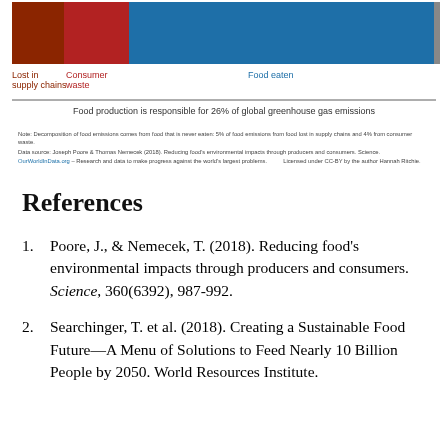[Figure (stacked-bar-chart): Horizontal stacked bar showing proportions: Lost in supply chains (brown), Consumer waste (red/dark red), Food eaten (blue), with annotation that food production is responsible for 26% of global greenhouse gas emissions]
Note: Decomposition of food emissions comes from food that is never eaten: 5% of food emissions from food lost in supply chains and 4% from consumer waste. Data source: Joseph Poore & Thomas Nemecek (2018). Reducing food's environmental impacts through producers and consumers. Science. OurWorldInData.org – Research and data to make progress against the world's largest problems. Licensed under CC-BY by the author Hannah Ritchie.
References
Poore, J., & Nemecek, T. (2018). Reducing food's environmental impacts through producers and consumers. Science, 360(6392), 987-992.
Searchinger, T. et al. (2018). Creating a Sustainable Food Future—A Menu of Solutions to Feed Nearly 10 Billion People by 2050. World Resources Institute.